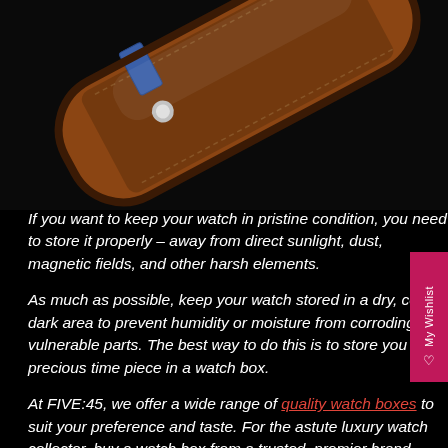[Figure (photo): A brown leather watch box/roll photographed against a black background, tilted at an angle, with a blue strap visible at the top.]
If you want to keep your watch in pristine condition, you need to store it properly – away from direct sunlight, dust, magnetic fields, and other harsh elements.
As much as possible, keep your watch stored in a dry, cool, dark area to prevent humidity or moisture from corroding its vulnerable parts. The best way to do this is to store your precious time piece in a watch box.
At FIVE:45, we offer a wide range of quality watch boxes to suit your preference and taste. For the astute luxury watch collector, buy a watch box from a trusted, premier brand